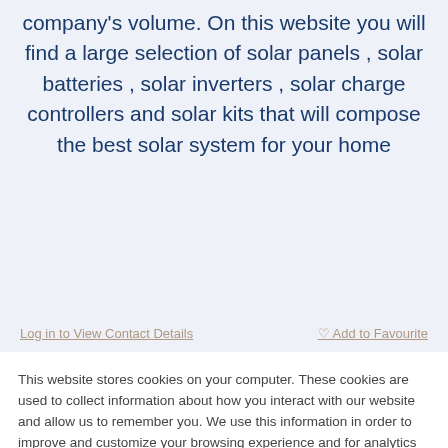company's volume. On this website you will find a large selection of solar panels , solar batteries , solar inverters , solar charge controllers and solar kits that will compose the best solar system for your home
Log in to View Contact Details
Add to Favourite
This website stores cookies on your computer. These cookies are used to collect information about how you interact with our website and allow us to remember you. We use this information in order to improve and customize your browsing experience and for analytics and metrics about our visitors both on this website and other media. To find out more about the cookies we use, see our Privacy Policy
If you decline, your information won't be tracked when you visit this website. A single cookie will be used in your browser to remember your preference not to be tracked.
Accept
Decline